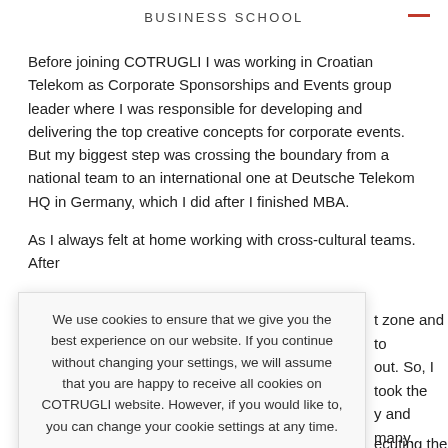BUSINESS SCHOOL
Before joining COTRUGLI I was working in Croatian Telekom as Corporate Sponsorships and Events group leader where I was responsible for developing and delivering the top creative concepts for corporate events. But my biggest step was crossing the boundary from a national team to an international one at Deutsche Telekom HQ in Germany, which I did after I finished MBA.
As I always felt at home working with cross-cultural teams. After [t zone and to out. So, I took the y and many.]
[ecuting the ' organisation]
[ny horizons. For ns. It also made to change and]
We use cookies to ensure that we give you the best experience on our website. If you continue without changing your settings, we will assume that you are happy to receive all cookies on COTRUGLI website. However, if you would like to, you can change your cookie settings at any time.
Cookie settings  ACCEPT